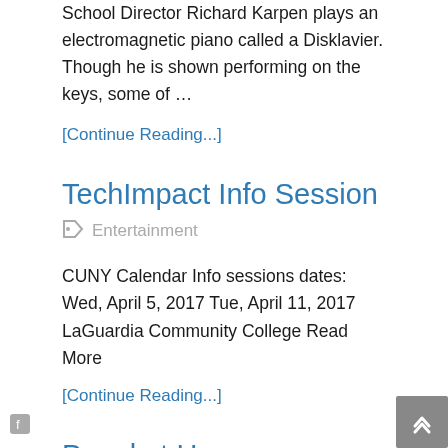School Director Richard Karpen plays an electromagnetic piano called a Disklavier. Though he is shown performing on the keys, some of …
[Continue Reading...]
TechImpact Info Session
Entertainment
CUNY Calendar Info sessions dates: Wed, April 5, 2017 Tue, April 11, 2017 LaGuardia Community College Read More
[Continue Reading...]
Panel at Hammer Museum highlights how filmmakers depict genocide